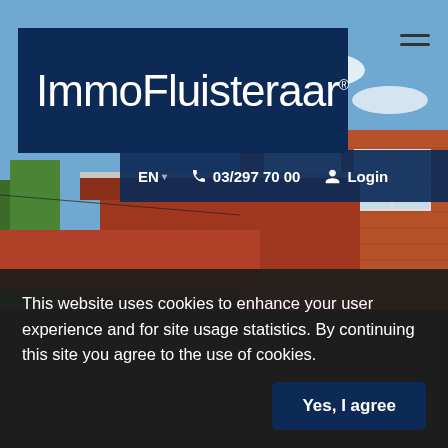[Figure (photo): Exterior photo of a Belgian brick house with terracotta roof tiles and blue sky with clouds in the background, serving as homepage hero image]
ImmoFluisteraar
EN ▾  📞 03/297 70 00  👤 Login
This website uses cookies to enhance your user experience and for site usage statistics. By continuing this site you agree to the use of cookies.
Yes, I agree